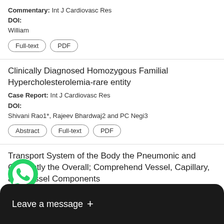Commentary: Int J Cardiovasc Res
DOI:
William
Full-text  PDF
Clinically Diagnosed Homozygous Familial Hypercholesterolemia-rare entity
Case Report: Int J Cardiovasc Res
DOI:
Shivani Rao1*, Rajeev Bhardwaj2 and PC Negi3
Abstract  Full-text  PDF
Transport System of the Body the Pneumonic and Conjointly the Overall; Comprehend Vessel, Capillary, and Vessel Components
Commentary: Int J Cardiovasc Res
Full-text (partial, obscured by overlay)